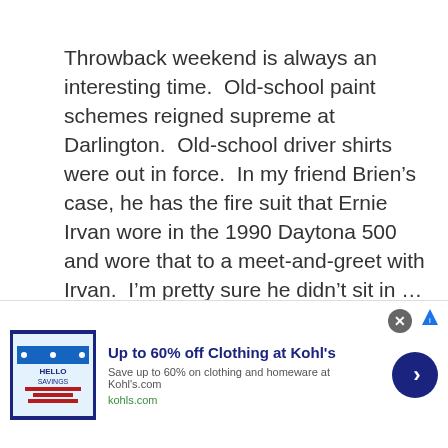Throwback weekend is always an interesting time.  Old-school paint schemes reigned supreme at Darlington.  Old-school driver shirts were out in force.  In my friend Brien’s case, he has the fire suit that Ernie Irvan wore in the 1990 Daytona 500 and wore that to a meet-and-greet with Irvan.  I’m pretty sure he didn’t sit in …
Read more
Couch Potato Tuesday, Cup Series
[Figure (other): Advertisement banner: Up to 60% off Clothing at Kohl's. Save up to 60% on clothing and homeware at Kohl's.com. kohls.com]